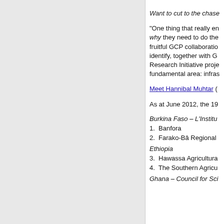Want to cut to the chase
“One thing that really en why they need to do the fruitful GCP collaboration identify, together with G Research Initiative proje fundamental area: infras
Meet Hannibal Muhtar (
As at June 2012, the 19
Burkina Faso – L’Institu
1.   Banfora
2.   Farako-Bâ Regional
Ethiopia
3.   Hawassa Agricultura
4.   The Southern Agricu
Ghana – Council for Sci